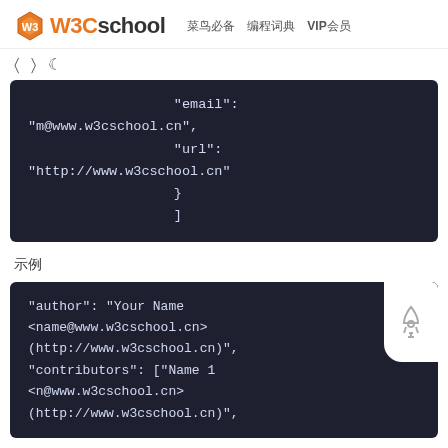W3Cschool  菜鸟必备  编程词典  VIP会员
[Figure (screenshot): Toolbar icons: left arrow, right arrow, moon/night mode icon]
[Figure (screenshot): Code block showing JSON snippet: "email": "m@www.w3cschool.cn", "url": "http://www.w3cschool.cn" } ]]
示例
[Figure (screenshot): Code block showing JSON snippet: "author": "Your Name <name@www.w3cschool.cn> (http://www.w3cschool.cn)", "contributors": ["Name 1 <n@www.w3cschool.cn> (http://www.w3cschool.cn)",]